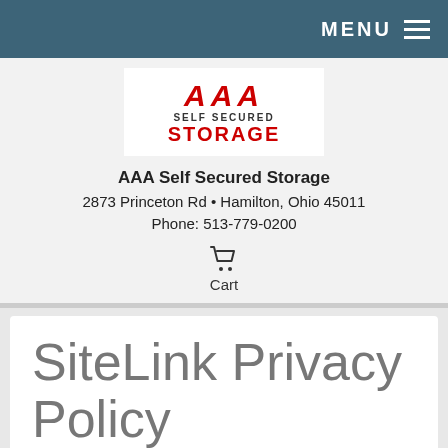MENU
[Figure (logo): AAA Self Secured Storage logo with red AAA letters and red STORAGE text]
AAA Self Secured Storage
2873 Princeton Rd • Hamilton, Ohio 45011
Phone: 513-779-0200
[Figure (illustration): Shopping cart icon]
Cart
SiteLink Privacy Policy